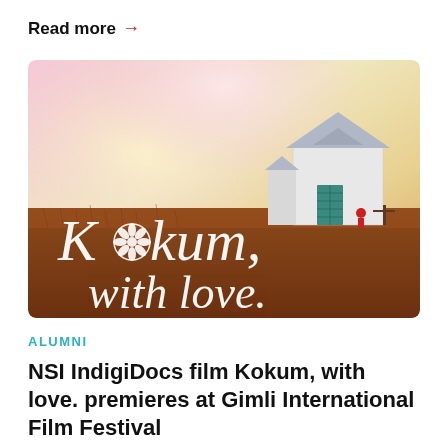Read more →
[Figure (photo): Film poster for 'Kokum, with love.' showing a white prairie church building against a golden-pink sky, with tall brown grasses in the foreground. Large white text reads 'Kokum, with love.' with a decorative floral motif replacing the 'o' in Kokum.]
ALUMNI
NSI IndigiDocs film Kokum, with love. premieres at Gimli International Film Festival